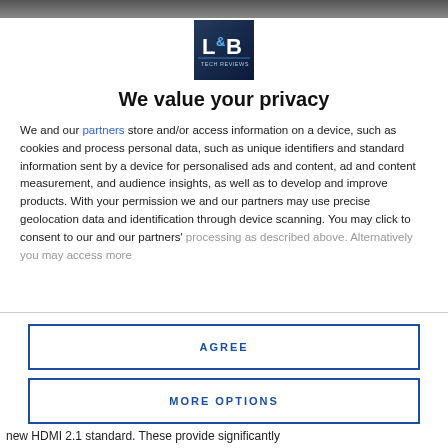[Figure (logo): L&B Tech Reviews logo — blue square with L&B letters and 'TECH REVIEWS' text]
We value your privacy
We and our partners store and/or access information on a device, such as cookies and process personal data, such as unique identifiers and standard information sent by a device for personalised ads and content, ad and content measurement, and audience insights, as well as to develop and improve products. With your permission we and our partners may use precise geolocation data and identification through device scanning. You may click to consent to our and our partners' processing as described above. Alternatively you may access more
AGREE
MORE OPTIONS
new HDMI 2.1 standard. These provide significantly